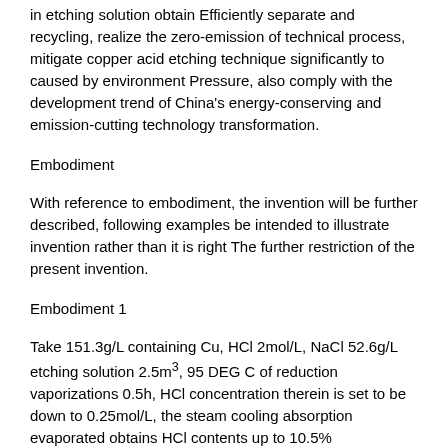in etching solution obtain Efficiently separate and recycling, realize the zero-emission of technical process, mitigate copper acid etching technique significantly to caused by environment Pressure, also comply with the development trend of China's energy-conserving and emission-cutting technology transformation.
Embodiment
With reference to embodiment, the invention will be further described, following examples be intended to illustrate invention rather than it is right The further restriction of the present invention.
Embodiment 1
Take 151.3g/L containing Cu, HCl 2mol/L, NaCl 52.6g/L etching solution 2.5m³, 95 DEG C of reduction vaporizations 0.5h, HCl concentration therein is set to be down to 0.25mol/L, the steam cooling absorption evaporated obtains HCl contents up to 10.5% Hydrochloric acid.Evaporation residue stir while hot add temperature be 85 DEG C of concentration up to 20% NaOH solution, when the pH of solution rises to 9.5 stop plus alkali, and 105 DEG